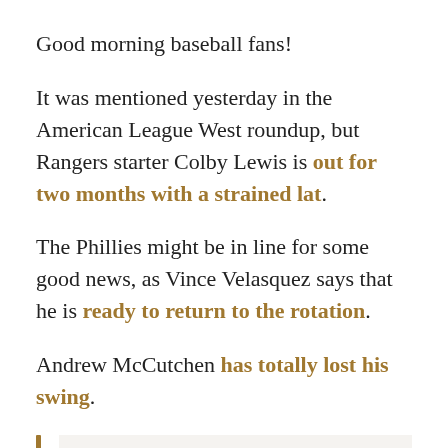Good morning baseball fans!
It was mentioned yesterday in the American League West roundup, but Rangers starter Colby Lewis is out for two months with a strained lat.
The Phillies might be in line for some good news, as Vince Velasquez says that he is ready to return to the rotation.
Andrew McCutchen has totally lost his swing.
This is either encouraging or it's not. Just last year, McCutchen played through injury, and he successfully returned to his old level of performance. This year's injury, however, is a different one, and should it nag, it's hard to see how McCutchen could